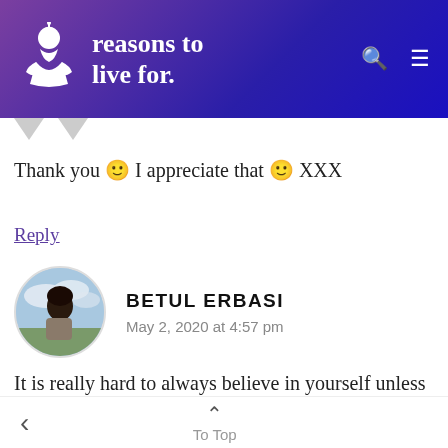reasons to live for.
Thank you 🙂 I appreciate that 🙂 XXX
Reply
BETUL ERBASI
May 2, 2020 at 4:57 pm
It is really hard to always believe in yourself unless you are comfortable with yourself, which means you have to deal with your past. Good post!
To Top